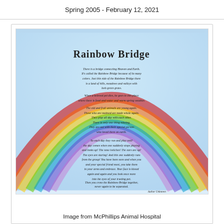Spring 2005 - February 12, 2021
[Figure (illustration): Rainbow Bridge poem image with a rainbow arc on a blue sky background, titled 'Rainbow Bridge', containing the full Rainbow Bridge poem text, attributed to Author Unknown]
Image from McPhillips Animal Hospital